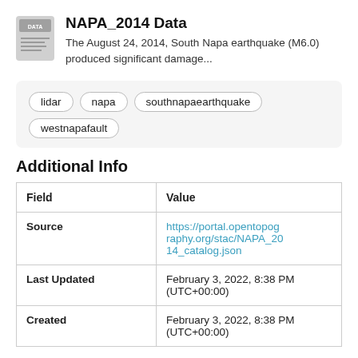NAPA_2014 Data
The August 24, 2014, South Napa earthquake (M6.0) produced significant damage...
lidar  napa  southnapaearthquake  westnapafault
Additional Info
| Field | Value |
| --- | --- |
| Source | https://portal.opentopography.org/stac/NAPA_2014_catalog.json |
| Last Updated | February 3, 2022, 8:38 PM (UTC+00:00) |
| Created | February 3, 2022, 8:38 PM (UTC+00:00) |